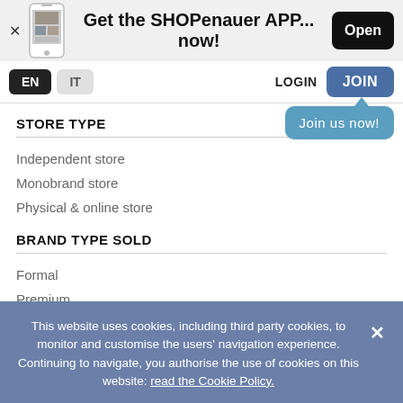[Figure (screenshot): App promotion banner with phone image, text 'Get the SHOPenauer APP... now!' and an Open button]
EN  IT  LOGIN  JOIN
Join us now!
STORE TYPE
Independent store
Monobrand store
Physical & online store
BRAND TYPE SOLD
Formal
Premium
STORE SPECIALIZED IN
This website uses cookies, including third party cookies, to monitor and customise the users' navigation experience. Continuing to navigate, you authorise the use of cookies on this website: read the Cookie Policy.